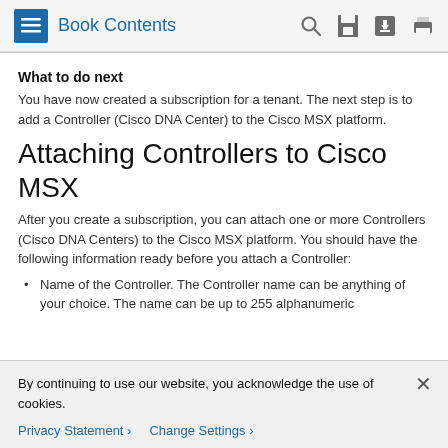Book Contents
What to do next
You have now created a subscription for a tenant. The next step is to add a Controller (Cisco DNA Center) to the Cisco MSX platform.
Attaching Controllers to Cisco MSX
After you create a subscription, you can attach one or more Controllers (Cisco DNA Centers) to the Cisco MSX platform. You should have the following information ready before you attach a Controller:
Name of the Controller. The Controller name can be anything of your choice. The name can be up to 255 alphanumeric
By continuing to use our website, you acknowledge the use of cookies.
Privacy Statement > Change Settings >